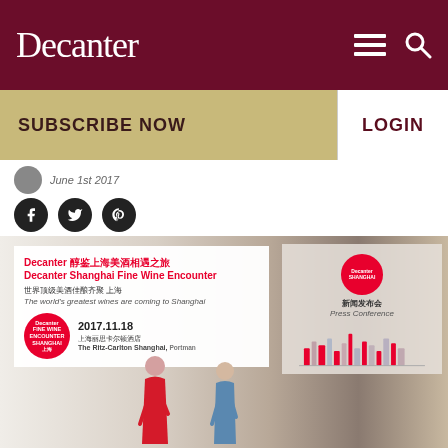Decanter
SUBSCRIBE NOW
LOGIN
June 1st 2017
[Figure (photo): Press conference for Decanter Shanghai Fine Wine Encounter 2017. A banner reads 'Decanter 醇鉴上海美酒相遇之旅 / Decanter Shanghai Fine Wine Encounter / 世界顶级美酒佳酿齐聚 上海 / The world's greatest wines are coming to Shanghai', with date 2017.11.18, venue 上海丽思卡尔顿酒店 / The Ritz-Carlton Shanghai. Two women present on stage.]